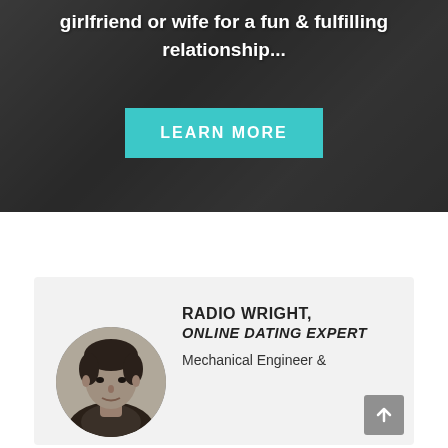[Figure (photo): Dark grayscale photo of a couple (man and woman) as background banner with semi-transparent dark overlay. White bold text at top reads 'girlfriend or wife for a fun & fulfilling relationship...' and a teal 'LEARN MORE' button in the center.]
girlfriend or wife for a fun & fulfilling relationship...
LEARN MORE
[Figure (photo): Circular cropped headshot of a young man with dark hair (Radio Wright) on a light gray card background.]
RADIO WRIGHT, ONLINE DATING EXPERT
Mechanical Engineer &